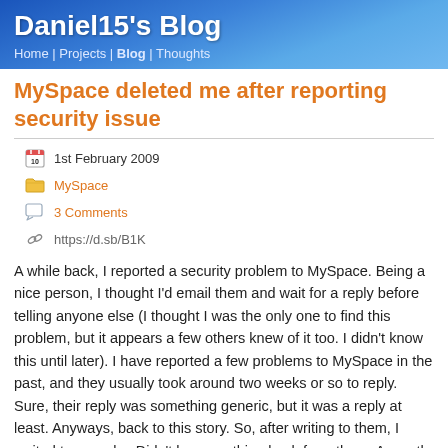Daniel15's Blog
Home | Projects | Blog | Thoughts
MySpace deleted me after reporting security issue
1st February 2009
MySpace
3 Comments
https://d.sb/B1K
A while back, I reported a security problem to MySpace. Being a nice person, I thought I'd email them and wait for a reply before telling anyone else (I thought I was the only one to find this problem, but it appears a few others knew of it too. I didn't know this until later). I have reported a few problems to MySpace in the past, and they usually took around two weeks or so to reply. Sure, their reply was something generic, but it was a reply at least. Anyways, back to this story. So, after writing to them, I waited two weeks. Didn't hear anything back from them. A month, still didn't hear anything. So I thought that as a month had passed, I may as well report the security hole to a security site. I wrote to xssed.com, and after a small wait they published an article on it.